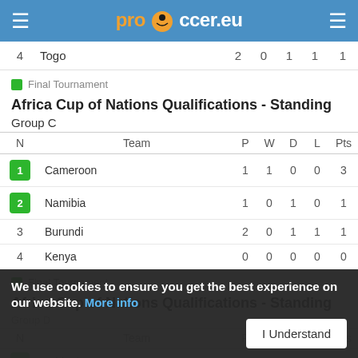prosoccer.eu
| N | Team | P | W | D | L | Pts |
| --- | --- | --- | --- | --- | --- | --- |
| 4 | Togo | 2 | 0 | 1 | 1 | 1 |
Final Tournament
Africa Cup of Nations Qualifications - Standing
Group C
| N | Team | P | W | D | L | Pts |
| --- | --- | --- | --- | --- | --- | --- |
| 1 | Cameroon | 1 | 1 | 0 | 0 | 3 |
| 2 | Namibia | 1 | 0 | 1 | 0 | 1 |
| 3 | Burundi | 2 | 0 | 1 | 1 | 1 |
| 4 | Kenya | 0 | 0 | 0 | 0 | 0 |
Final Tournament
Africa Cup of Nations Qualifications - Standing
Group D
| N | Team | P | W | D | L | Pts |
| --- | --- | --- | --- | --- | --- | --- |
| 1 | Ethiopia |  |  |  |  | 3 |
| 2 | Malawi | 2 | 1 | 0 | 1 | 3 |
| 3 | Guinea | 2 | 1 | 0 |  |  |
We use cookies to ensure you get the best experience on our website. More info | I Understand